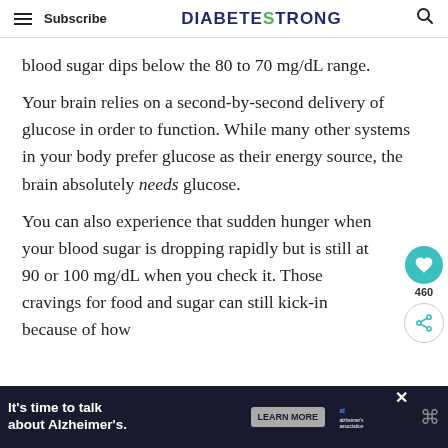Subscribe | DIABETESTRONG | [search]
blood sugar dips below the 80 to 70 mg/dL range.
Your brain relies on a second-by-second delivery of glucose in order to function. While many other systems in your body prefer glucose as their energy source, the brain absolutely needs glucose.
You can also experience that sudden hunger when your blood sugar is dropping rapidly but is still at 90 or 100 mg/dL when you check it. Those cravings for food and sugar can still kick-in because of how q...
[Figure (other): Floating action buttons: heart/like button with count 460, and share button]
[Figure (other): Advertisement banner at bottom: It's time to talk about Alzheimer's. LEARN MORE button, Alzheimer's Association logo, close X button]